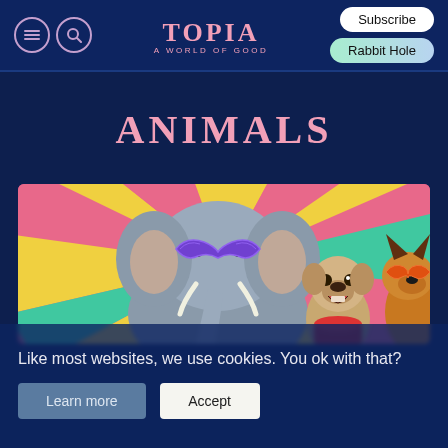TOPIA · A WORLD OF GOOD — Subscribe · Rabbit Hole
ANIMALS
[Figure (photo): Animals dressed as superheroes: a large elephant wearing a purple masquerade mask, a pug in a red superhero cape with an open mouth, and a German Shepherd wearing an orange mask, all posed in front of a colorful sunburst background in pink, yellow, and teal.]
Like most websites, we use cookies. You ok with that?
Learn more
Accept